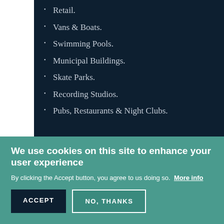Retail.
Vans & Boats.
Swimming Pools.
Municipal Buildings.
Skate Parks.
Recording Studios.
Pubs, Restaurants & Night Clubs.
[Figure (screenshot): Dark banner section with 'CASE STUDIES' text partially visible]
We use cookies on this site to enhance your user experience
By clicking the Accept button, you agree to us doing so. More info
ACCEPT
NO, THANKS